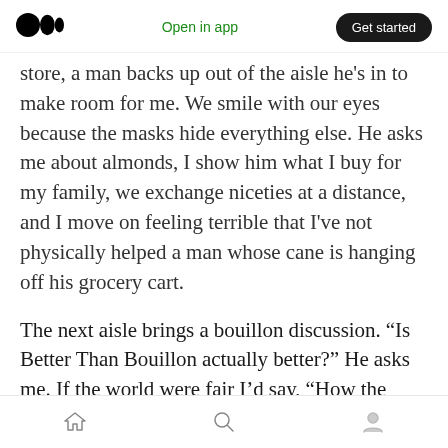Medium logo | Open in app | Get started
store, a man backs up out of the aisle he’s in to make room for me. We smile with our eyes because the masks hide everything else. He asks me about almonds, I show him what I buy for my family, we exchange niceties at a distance, and I move on feeling terrible that I’ve not physically helped a man whose cane is hanging off his grocery cart.
The next aisle brings a bouillon discussion. “Is Better Than Bouillon actually better?” He asks me. If the world were fair I’d say, “How the fuck do I know?” But the world is cruel and this is the
Home | Search | Profile